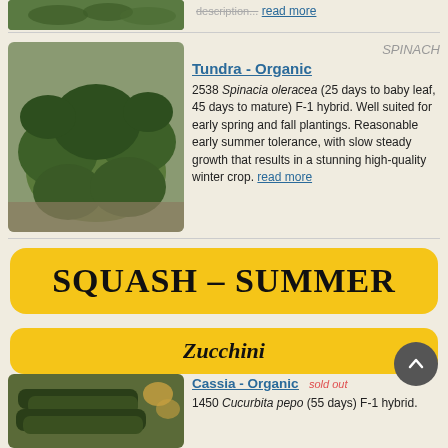[Figure (photo): Partial view of spinach plant photo from previous entry at top of page]
read more
[Figure (photo): Photo of spinach Tundra - Organic variety growing in garden bed with dark green crinkled leaves]
SPINACH
Tundra - Organic
2538 Spinacia oleracea (25 days to baby leaf, 45 days to mature) F-1 hybrid. Well suited for early spring and fall plantings. Reasonable early summer tolerance, with slow steady growth that results in a stunning high-quality winter crop. read more
SQUASH - SUMMER
Zucchini
[Figure (photo): Photo of zucchini Cassia - Organic variety showing dark green striped zucchini fruit]
Cassia - Organic
sold out
1450 Cucurbita pepo (55 days) F-1 hybrid.